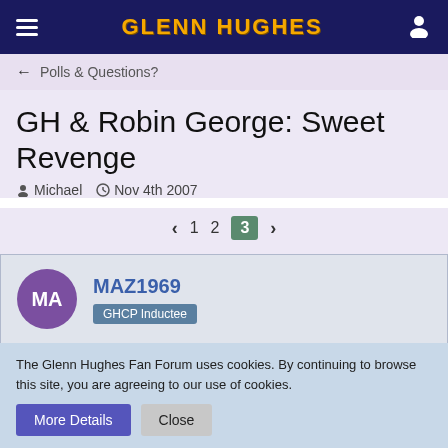GLENN HUGHES
← Polls & Questions?
GH & Robin George: Sweet Revenge
Michael  Nov 4th 2007
‹ 1 2 3 ›
MA MAZ1969 GHCP Inductee
Mar 15th 2008
The Glenn Hughes Fan Forum uses cookies. By continuing to browse this site, you are agreeing to our use of cookies.